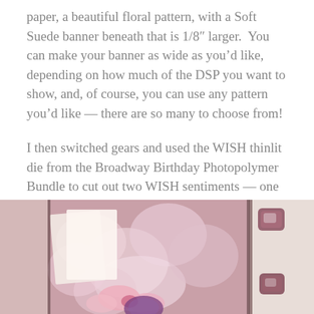paper, a beautiful floral pattern, with a Soft Suede banner beneath that is 1/8" larger. You can make your banner as wide as you'd like, depending on how much of the DSP you want to show, and, of course, you can use any pattern you'd like — there are so many to choose from!
I then switched gears and used the WISH thinlit die from the Broadway Birthday Photopolymer Bundle to cut out two WISH sentiments — one in Soft Suede cardstock, and one on Rose Glimmer paper — so pretty and sparkly. I used some all-purpose glue to attach them to the card front, offsetting them slightly.
[Figure (photo): Photo showing pink floral decorations with craft card elements and gemstone embellishments on a light background.]